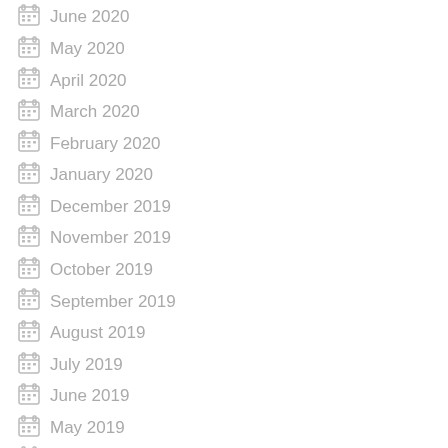June 2020
May 2020
April 2020
March 2020
February 2020
January 2020
December 2019
November 2019
October 2019
September 2019
August 2019
July 2019
June 2019
May 2019
April 2019
March 2019
February 2019
January 2019
December 2018
November 2018
October 2018
September 2018